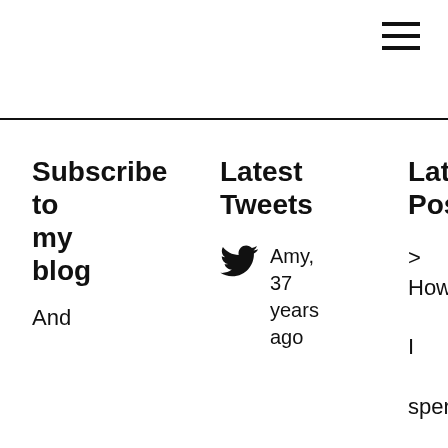[Figure (other): Hamburger menu icon (three horizontal lines) in top right corner]
Subscribe to my blog
Latest Tweets
Latest Posts
And
Amy, 37 years ago
> How I spent